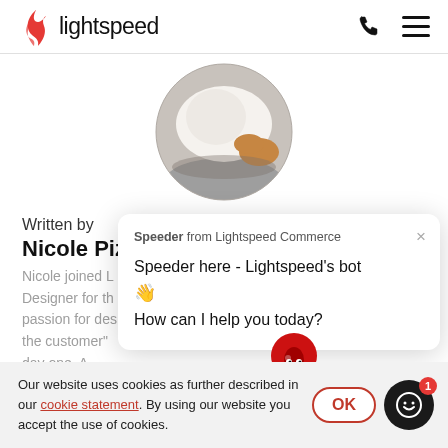lightspeed
[Figure (photo): Circular profile photo showing hands working with white fabric or dough over a metal surface]
Written by
Nicole Pizarro
Nicole joined L... Designer for th... passion for des... the customer"... day one. A... also know...
Speeder from Lightspeed Commerce
Speeder here - Lightspeed's bot 👋
How can I help you today?
Our website uses cookies as further described in our cookie statement. By using our website you accept the use of cookies.